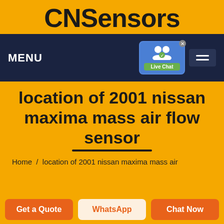CNSensors
MENU
location of 2001 nissan maxima mass air flow sensor
Home  /  location of 2001 nissan maxima mass air
Get a Quote
WhatsApp
Chat Now